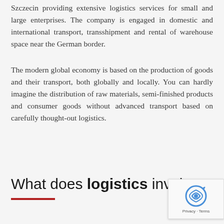Szczecin providing extensive logistics services for small and large enterprises. The company is engaged in domestic and international transport, transshipment and rental of warehouse space near the German border.
The modern global economy is based on the production of goods and their transport, both globally and locally. You can hardly imagine the distribution of raw materials, semi-finished products and consumer goods without advanced transport based on carefully thought-out logistics.
What does logistics involve